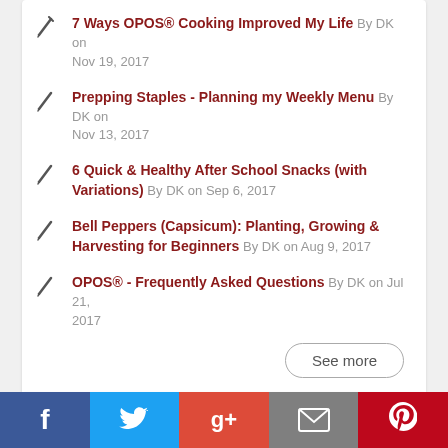7 Ways OPOS® Cooking Improved My Life By DK on Nov 19, 2017
Prepping Staples - Planning my Weekly Menu By DK on Nov 13, 2017
6 Quick & Healthy After School Snacks (with Variations) By DK on Sep 6, 2017
Bell Peppers (Capsicum): Planting, Growing & Harvesting for Beginners By DK on Aug 9, 2017
OPOS® - Frequently Asked Questions By DK on Jul 21, 2017
See more
Recent Posts by Chef M...